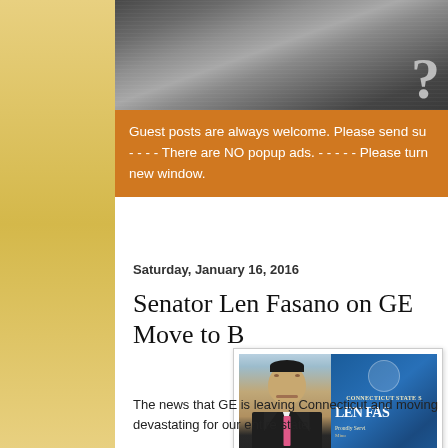[Figure (other): Dark metallic textured background image with a partial character visible at right edge]
Guest posts are always welcome. Please send su - - - - There are NO popup ads. - - - - - Please turn new window.
Saturday, January 16, 2016
Senator Len Fasano on GE Move to B
[Figure (photo): Photo of Senator Len Fasano with Connecticut State Senate banner showing his name and Proudly Serving, Minority Leader text]
The news that GE is leaving Connecticut and moving devastating for our entire state.